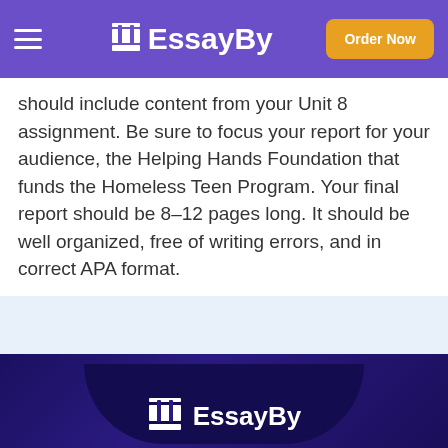EssayBy — Order Now
should include content from your Unit 8 assignment. Be sure to focus your report for your audience, the Helping Hands Foundation that funds the Homeless Teen Program. Your final report should be 8–12 pages long. It should be well organized, free of writing errors, and in correct APA format.
[Figure (logo): EssayBy footer logo on dark purple background]